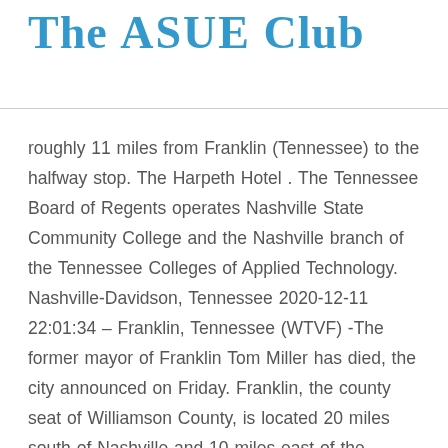The ASUE Club
roughly 11 miles from Franklin (Tennessee) to the halfway stop. The Harpeth Hotel . The Tennessee Board of Regents operates Nashville State Community College and the Nashville branch of the Tennessee Colleges of Applied Technology. Nashville-Davidson, Tennessee 2020-12-11 22:01:34 – Franklin, Tennessee (WTVF) -The former mayor of Franklin Tom Miller has died, the city announced on Friday. Franklin, the county seat of Williamson County, is located 20 miles south of Nashville and 10 miles east of the Natchez Trace Parkway. We L O V E Nashville! Nashville-Davidson, Tennessee 2020-12-11 22:01:34 – Franklin, Tennessee (WTVF) -The former mayor of Franklin Tom Miller has died, the city announced on Friday. Benjamin Franklin;